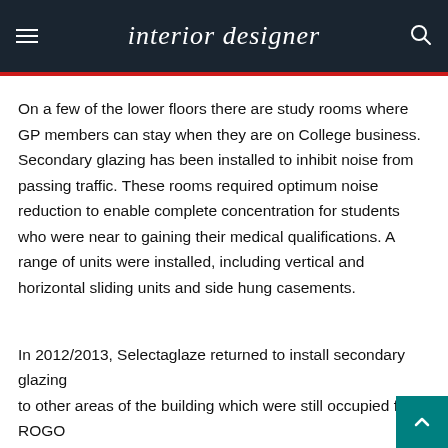interior designer
On a few of the lower floors there are study rooms where GP members can stay when they are on College business. Secondary glazing has been installed to inhibit noise from passing traffic. These rooms required optimum noise reduction to enable complete concentration for students who were near to gaining their medical qualifications. A range of units were installed, including vertical and horizontal sliding units and side hung casements.
In 2012/2013, Selectaglaze returned to install secondary glazing to other areas of the building which were still occupied for ROGO...